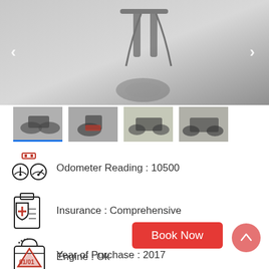[Figure (photo): Main large photo of a motorcycle (front wheel and forks close-up), dark, shown in a full-width image carousel with left and right navigation arrows]
[Figure (photo): Four thumbnail images of a motorcycle from different angles below the main carousel image. First thumbnail is selected (highlighted with blue underline).]
Odometer Reading : 10500
Insurance : Comprehensive
Year of Purchase : 2017
Engine : Ok
Book Now